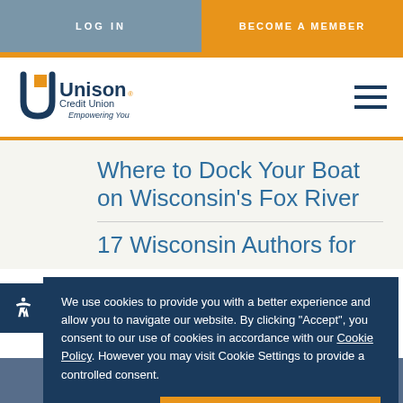LOG IN | BECOME A MEMBER
[Figure (logo): Unison Credit Union logo with tagline Empowering You]
Where to Dock Your Boat on Wisconsin's Fox River
17 Wisconsin Authors for
We use cookies to provide you with a better experience and allow you to navigate our website. By clicking "Accept", you consent to our use of cookies in accordance with our Cookie Policy. However you may visit Cookie Settings to provide a controlled consent.
Cookie settings | ACCEPT